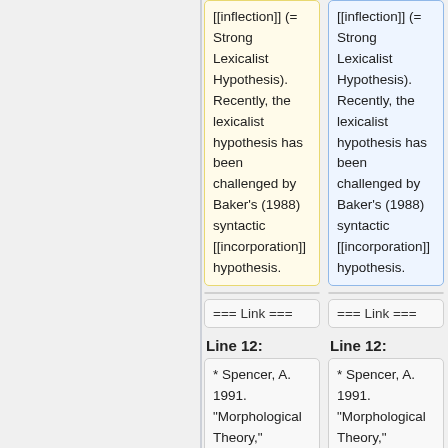[[inflection]] (= Strong Lexicalist Hypothesis). Recently, the lexicalist hypothesis has been challenged by Baker's (1988) syntactic [[incorporation]] hypothesis.
[[inflection]] (= Strong Lexicalist Hypothesis). Recently, the lexicalist hypothesis has been challenged by Baker's (1988) syntactic [[incorporation]] hypothesis.
=== Link ===
=== Link ===
Line 12:
Line 12:
* Spencer, A. 1991. "Morphological Theory," Blackwell, Oxford.
* Spencer, A. 1991. "Morphological Theory," Blackwell, Oxford.